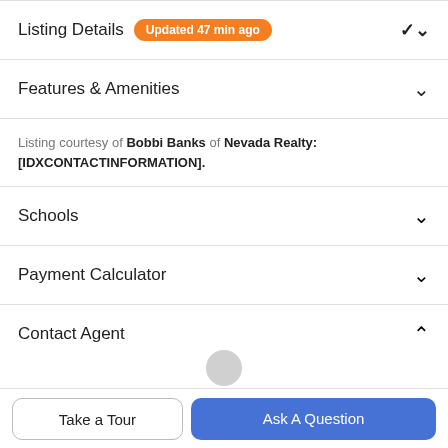Listing Details Updated 47 min ago
Features & Amenities
Listing courtesy of Bobbi Banks of Nevada Realty: [IDXCONTACTINFORMATION].
Schools
Payment Calculator
Contact Agent
Take a Tour
Ask A Question